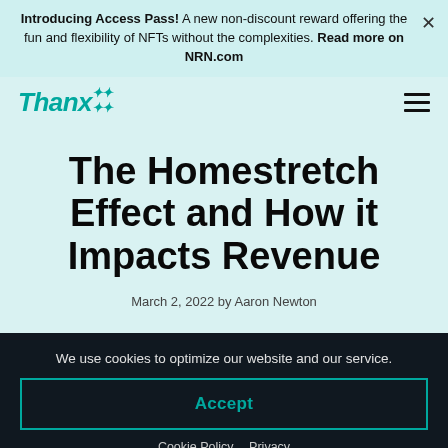Introducing Access Pass! A new non-discount reward offering the fun and flexibility of NFTs without the complexities. Read more on NRN.com
[Figure (logo): Thanx logo with star decorations in teal italic bold font, and hamburger menu icon on the right]
The Homestretch Effect and How it Impacts Revenue
March 2, 2022 by Aaron Newton
We use cookies to optimize our website and our service.
Accept
Cookie Policy  Privacy